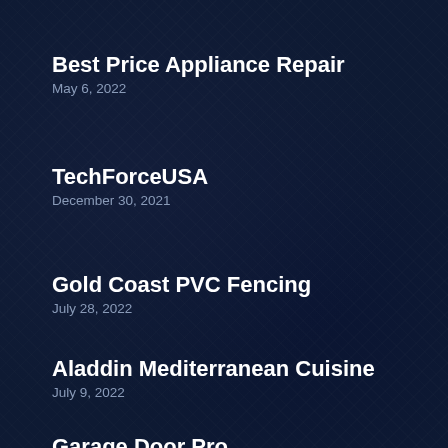Best Price Appliance Repair
May 6, 2022
TechForceUSA
December 30, 2021
Gold Coast PVC Fencing
July 28, 2022
Aladdin Mediterranean Cuisine
July 9, 2022
Garage Door Pro
June 28, 2022